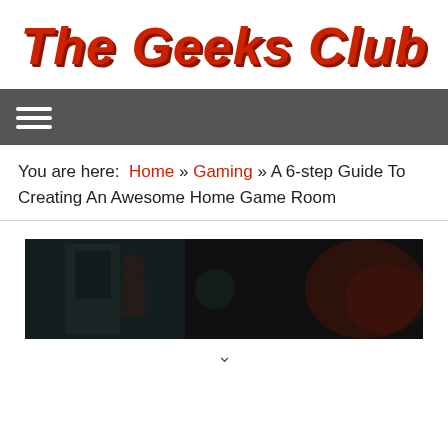The Geeks Club
[Figure (other): Hamburger menu icon (three horizontal white lines) on dark grey navigation bar]
You are here: Home » Gaming » A 6-step Guide To Creating An Awesome Home Game Room
[Figure (photo): Dark gaming room photo with arcade machines and red ambient lighting]